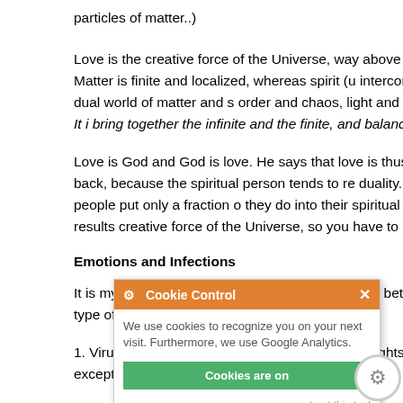particles of matter..)
Love is the creative force of the Universe, way above spirit. We act of matter and spirit. Matter is finite and localized, whereas spirit (u interconnects everything. We live in this dual world of matter and s order and chaos, light and darkness. Love is above this duality. It i bring together the infinite and the finite, and balance them. Love is
Love is God and God is love. He says that love is thus the short wa spirit is the long way back, because the spiritual person tends to re duality. He actually says that if spiritual people put only a fraction o they do into their spiritual path, they would get much better results creative force of the Universe, so you have to be a bit careful with i
Emotions and Infections
It is my impression is that there is less connection between emotio does depend on the type of infection:
1. Viruses are drawn much more to negative thoughts and m emotions,  but there may be exceptions such as the chro